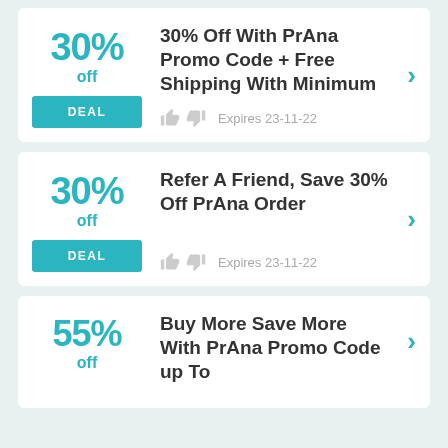30% off DEAL — 30% Off With PrAna Promo Code + Free Shipping With Minimum — Expires 23-11-22
30% off DEAL — Refer A Friend, Save 30% Off PrAna Order — Expires 23-11-22
55% off DEAL — Buy More Save More With PrAna Promo Code up To